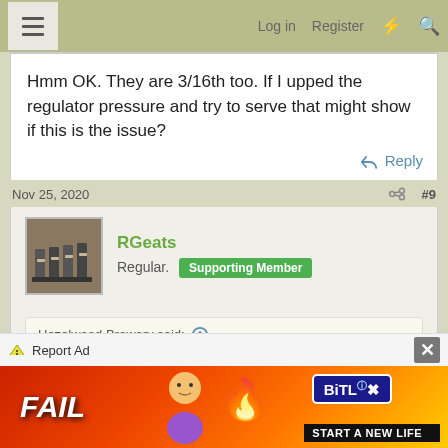Log in  Register
Hmm OK. They are 3/16th too. If I upped the regulator pressure and try to serve that might show if this is the issue?
Reply
Nov 25, 2020  #9
RGeats
Regular.  Supporting Member
Hazelwood Brewery said:
Could it be anything to do with the height of the keg relative to the tap? Have you tried putting the keg below
[Figure (advertisement): BitLife game advertisement with FAIL text and START A NEW LIFE tagline on red/orange gradient background]